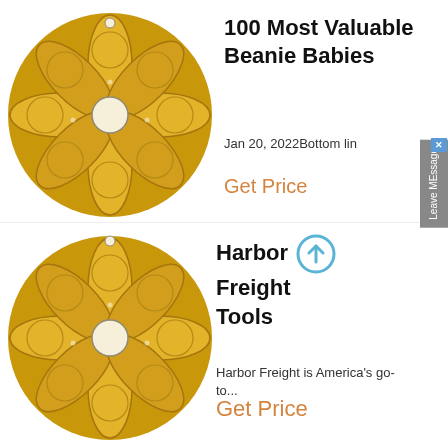[Figure (photo): Gold metallic flower-petal decorative disc with circular center hole, top]
100 Most Valuable Beanie Babies
Jan 20, 2022Bottom line
Get Price
[Figure (photo): Gold metallic flower-petal decorative disc with circular center hole, bottom]
Harbor Freight Tools
Harbor Freight is America's go-to...
Get Price